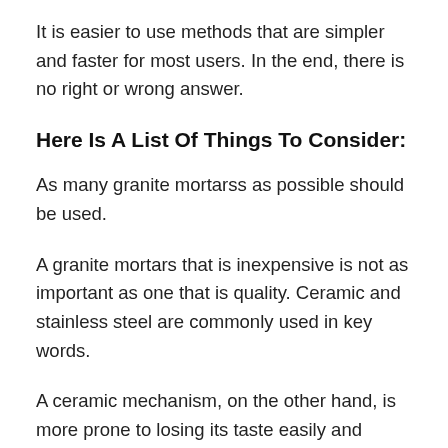It is easier to use methods that are simpler and faster for most users. In the end, there is no right or wrong answer.
Here Is A List Of Things To Consider:
As many granite mortarss as possible should be used.
A granite mortars that is inexpensive is not as important as one that is quality. Ceramic and stainless steel are commonly used in key words.
A ceramic mechanism, on the other hand, is more prone to losing its taste easily and breaking.
A ceramic bowl tends to hold its flavor better than